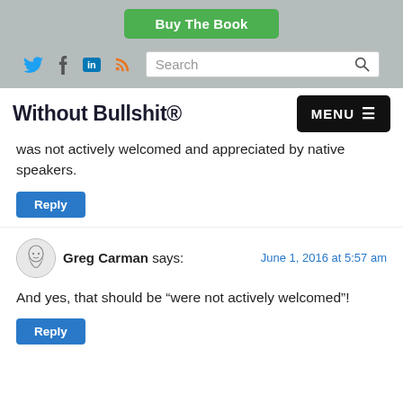Buy The Book
[Figure (screenshot): Navigation bar with social media icons (Twitter, Facebook, LinkedIn, RSS) and a search box]
Without Bullshit®
was not actively welcomed and appreciated by native speakers.
Reply
Greg Carman says:
June 1, 2016 at 5:57 am
And yes, that should be "were not actively welcomed"!
Reply